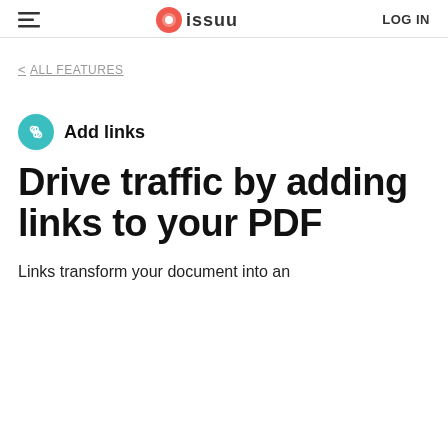ISSUU  LOG IN
< ALL FEATURES
Add links
Drive traffic by adding links to your PDF
Links transform your document into an